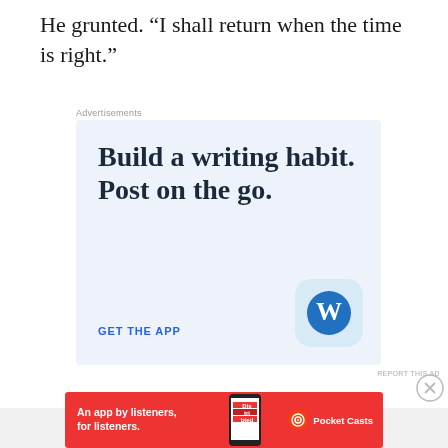He grunted. “I shall return when the time is right.”
Advertisements
[Figure (illustration): WordPress advertisement: 'Build a writing habit. Post on the go.' with 'GET THE APP' CTA and WordPress logo on light blue background.]
REPORT THIS AD
Advertisements
[Figure (illustration): Pocket Casts advertisement on red background: 'An app by listeners, for listeners.' with phone image and Pocket Casts logo.]